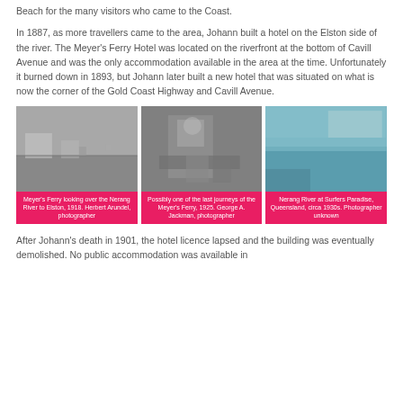Beach for the many visitors who came to the Coast.
In 1887, as more travellers came to the area, Johann built a hotel on the Elston side of the river. The Meyer's Ferry Hotel was located on the riverfront at the bottom of Cavill Avenue and was the only accommodation available in the area at the time. Unfortunately it burned down in 1893, but Johann later built a new hotel that was situated on what is now the corner of the Gold Coast Highway and Cavill Avenue.
[Figure (photo): Black and white photo of Meyer's Ferry looking over the Nerang River to Elston, 1918.]
Meyer's Ferry looking over the Nerang River to Elston, 1918. Herbert Arundel, photographer
[Figure (photo): Black and white photo possibly one of the last journeys of the Meyer's Ferry, 1925.]
Possibly one of the last journeys of the Meyer's Ferry, 1925. George A. Jackman, photographer
[Figure (photo): Color photo of Nerang River at Surfers Paradise, Queensland, circa 1930s.]
Nerang River at Surfers Paradise, Queensland, circa 1930s. Photographer unknown
After Johann's death in 1901, the hotel licence lapsed and the building was eventually demolished. No public accommodation was available in